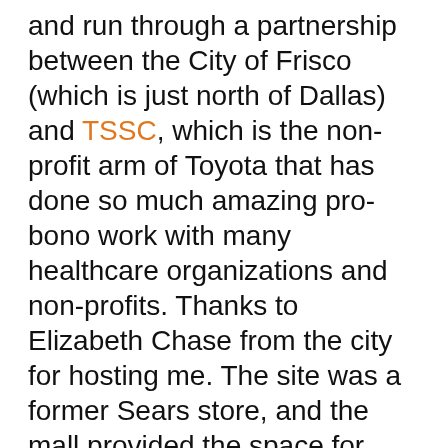and run through a partnership between the City of Frisco (which is just north of Dallas) and TSSC, which is the non-profit arm of Toyota that has done so much amazing pro-bono work with many healthcare organizations and non-profits. Thanks to Elizabeth Chase from the city for hosting me. The site was a former Sears store, and the mall provided the space for free.
Notice
We and selected third parties use cookies or similar technologies for technical purposes and, with your consent, for other purposes as specified in the cookie policy. Denying consent may make related features unavailable.
You can consent to the use of such technologies by closing this notice, by scrolling this page, by interacting with any link or button outside of this notice or by continuing to browse otherwise.